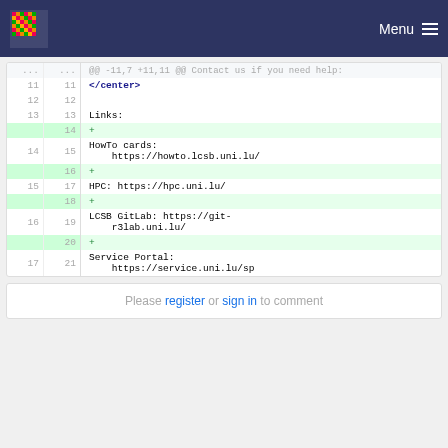Menu
[Figure (screenshot): Code diff view showing changes to a file. Lines 11-21 shown. Added blank lines (14, 16, 18, 20) visible as green highlighted rows with + sign. Context shows </center>, Links:, HowTo cards URL, HPC URL, LCSB GitLab URL, Service Portal URL.]
Please register or sign in to comment